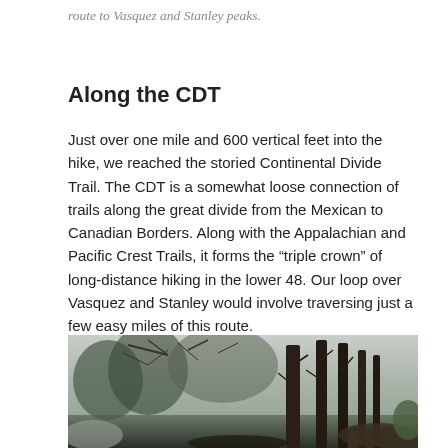route to Vasquez and Stanley peaks.
Along the CDT
Just over one mile and 600 vertical feet into the hike, we reached the storied Continental Divide Trail. The CDT is a somewhat loose connection of trails along the great divide from the Mexican to Canadian Borders. Along with the Appalachian and Pacific Crest Trails, it forms the “triple crown” of long-distance hiking in the lower 48. Our loop over Vasquez and Stanley would involve traversing just a few easy miles of this route.
[Figure (photo): Photo of bare winter trees with tall dark trunks in a forested mountain setting, taken along the Continental Divide Trail.]